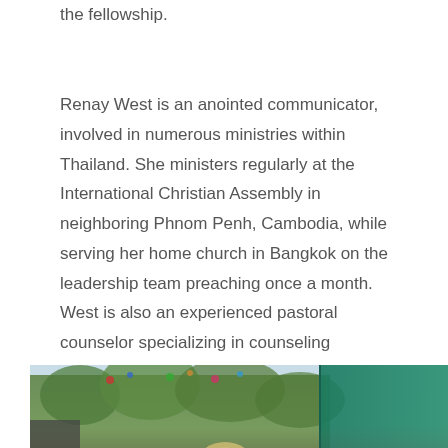the fellowship.
Renay West is an anointed communicator, involved in numerous ministries within Thailand. She ministers regularly at the International Christian Assembly in neighboring Phnom Penh, Cambodia, while serving her home church in Bangkok on the leadership team preaching once a month. West is also an experienced pastoral counselor specializing in counseling children, adolescents and adults who are victims of abuse or sexual assault.
[Figure (photo): Outdoor photo showing a group of people including a woman with short blonde hair and glasses in the center foreground, surrounded by other individuals, with green trees and a teal/green tarp or canopy visible in the background. Colorful decorations are visible in the trees.]